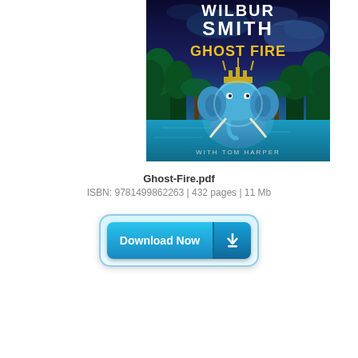[Figure (illustration): Book cover of Ghost Fire by Wilbur Smith with Tom Harper. Features a glowing blue elephant with a crown/headdress standing in a tropical jungle scene with turquoise water. Title 'GHOST FIRE' in yellow text, author 'WILBUR SMITH' in white text at top, 'WITH TOM HARPER' at bottom.]
Ghost-Fire.pdf
ISBN: 9781499862263 | 432 pages | 11 Mb
[Figure (screenshot): A Download Now button with cyan/blue gradient styling, rounded rectangle outer border, bold white text 'Download Now' on left side and a download arrow icon on the right side panel.]